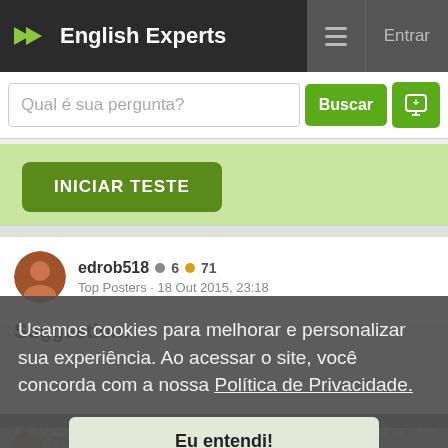English Experts
Qual é sua pergunta?
INICIAR TESTE
edrob518 • 6 • 71
Top Posters · 18 Out 2015, 23:18
Suggestion:
Usamos cookies para melhorar e personalizar sua experiência. Ao acessar o site, você concorda com a nossa Política de Privacidade.
Eu entendi!